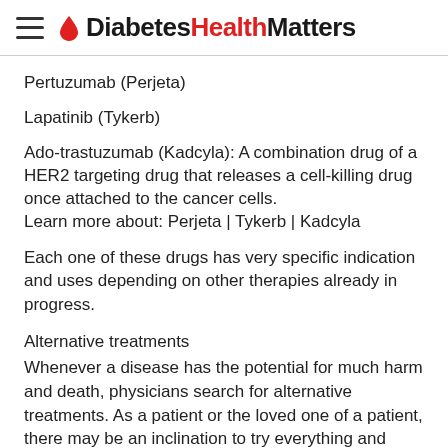DiabetesHealthMatters
Pertuzumab (Perjeta)
Lapatinib (Tykerb)
Ado-trastuzumab (Kadcyla): A combination drug of a HER2 targeting drug that releases a cell-killing drug once attached to the cancer cells.
Learn more about: Perjeta | Tykerb | Kadcyla
Each one of these drugs has very specific indication and uses depending on other therapies already in progress.
Alternative treatments
Whenever a disease has the potential for much harm and death, physicians search for alternative treatments. As a patient or the loved one of a patient, there may be an inclination to try everything and